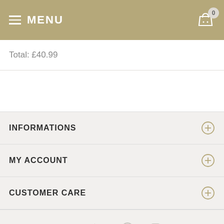MENU
Total: £40.99
INFORMATIONS
MY ACCOUNT
CUSTOMER CARE
Social icons: Facebook, Twitter, Pinterest, Instagram